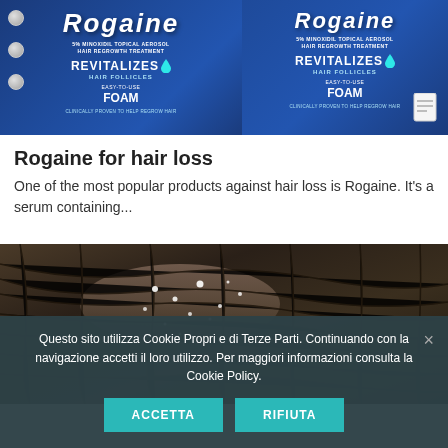[Figure (photo): Two Rogaine 5% Minoxidil Topical Aerosol Hair Regrowth Treatment product boxes side by side against a white background. Boxes are dark navy blue with 'REVITALIZES HAIR FOLLICLES' and 'EASY-TO-USE FOAM' text visible.]
Rogaine for hair loss
One of the most popular products against hair loss is Rogaine. It's a serum containing...
[Figure (photo): Close-up photo of human scalp with dark hair showing white dandruff flakes.]
Questo sito utilizza Cookie Propri e di Terze Parti. Continuando con la navigazione accetti il loro utilizzo. Per maggiori informazioni consulta la Cookie Policy.
ACCETTA
RIFIUTA